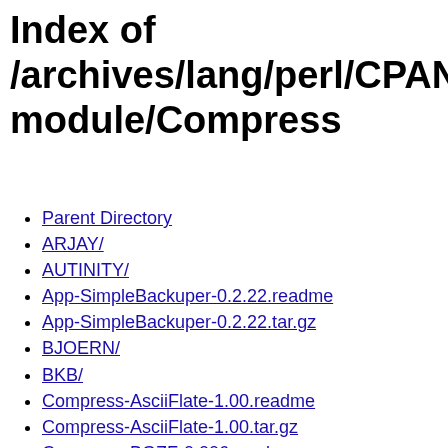Index of /archives/lang/perl/CPAN/module/Compress
Parent Directory
ARJAY/
AUTINITY/
App-SimpleBackuper-0.2.22.readme
App-SimpleBackuper-0.2.22.tar.gz
BJOERN/
BKB/
Compress-AsciiFlate-1.00.readme
Compress-AsciiFlate-1.00.tar.gz
Compress-BGZF-0.006.readme
Compress-BGZF-0.006.tar.gz
Compress-BraceExpansion-0.1.7.readme
Compress-BraceExpansion-0.1.7.tar.gz
Compress-Bzip2-2.09.readme
Compress-Bzip2-2.09.tar.gz
Compress-Bzip2-2.28.readme
Compress-Bzip2-2.28.tar.gz